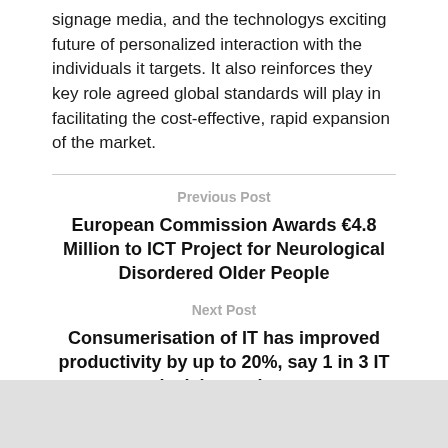signage media, and the technologys exciting future of personalized interaction with the individuals it targets. It also reinforces they key role agreed global standards will play in facilitating the cost-effective, rapid expansion of the market.
Previous Post
European Commission Awards €4.8 Million to ICT Project for Neurological Disordered Older People
Next Post
Consumerisation of IT has improved productivity by up to 20%, say 1 in 3 IT decision makers